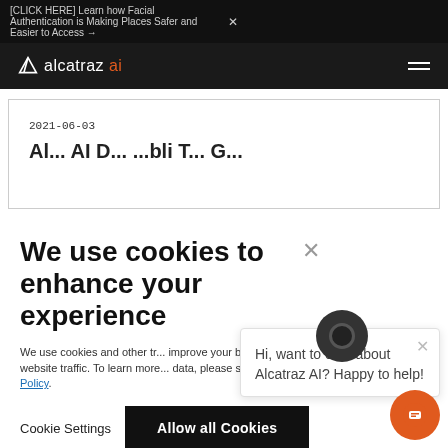[CLICK HERE] Learn how Facial Authentication is Making Places Safer and Easier to Access → X
[Figure (logo): Alcatraz AI logo with geometric icon and text 'alcatraz ai' where 'ai' is in orange, with hamburger menu icon on the right, on dark background]
2021-06-03
Al... AI D... ...bli T... G...
We use cookies to enhance your experience
We use cookies and other tr... improve your browsing exper... website traffic. To learn more... data, please see our Privacy Policy.
Cookie Settings
Allow all Cookies
Hi, want to chat about Alcatraz AI? Happy to help!